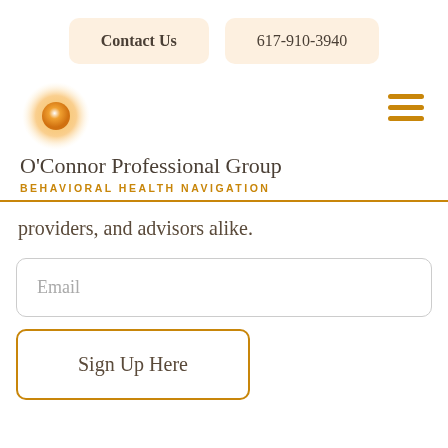Contact Us | 617-910-3940
O'Connor Professional Group
BEHAVIORAL HEALTH NAVIGATION
providers, and advisors alike.
Email
Sign Up Here